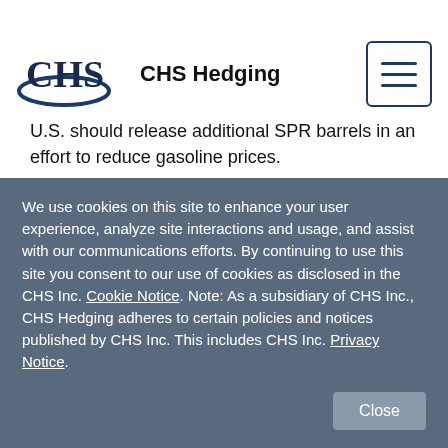[Figure (logo): CHS logo with blue swoosh and 'CHS Hedging' text beside it]
U.S. should release additional SPR barrels in an effort to reduce gasoline prices.
US oil production at 11.5 million bpd and may move steadily higher as rig counts continue to...
We use cookies on this site to enhance your user experience, analyze site interactions and usage, and assist with our communications efforts. By continuing to use this site you consent to our use of cookies as disclosed in the CHS Inc. Cookie Notice. Note: As a subsidiary of CHS Inc., CHS Hedging adheres to certain policies and notices published by CHS Inc. This includes CHS Inc. Privacy Notice.